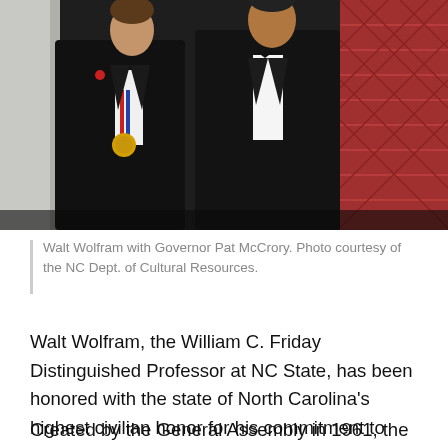[Figure (photo): Two men in tuxedos standing together. The man on the left wears a medal on a red, white, and blue ribbon and a boutonniere. The background includes a red lattice wall decoration.]
Walt Wolfram with Governor Pat McCrory. Photo courtesy of the NC Dept. of Cultural Resources.
Walt Wolfram, the William C. Friday Distinguished Professor at NC State, has been honored with the state of North Carolina's highest civilian honor for his commitment to public service. Wolfram received the North Carolina Award at a ceremony hosted by Governor Pat McCrory.
Created by the General Assembly in 1961, the North Carolina Awards have been presented annually since 1964